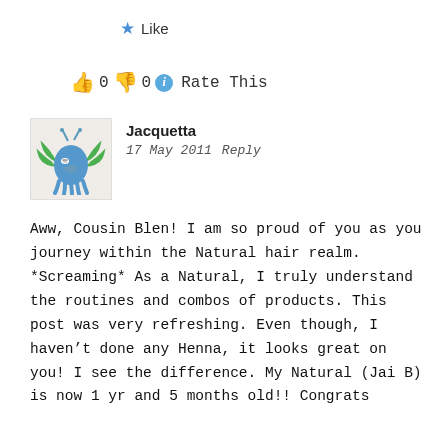★ Like
👍 0 👎 0 ℹ Rate This
[Figure (illustration): Avatar of commenter Jacquetta: a cartoon blue ghost-like creature with green hair/tentacles and antennae on a beige background]
Jacquetta
17 May 2011   Reply
Aww, Cousin Blen! I am so proud of you as you journey within the Natural hair realm. *Screaming* As a Natural, I truly understand the routines and combos of products. This post was very refreshing. Even though, I haven't done any Henna, it looks great on you! I see the difference. My Natural (Jai B) is now 1 yr and 5 months old!! Congrats